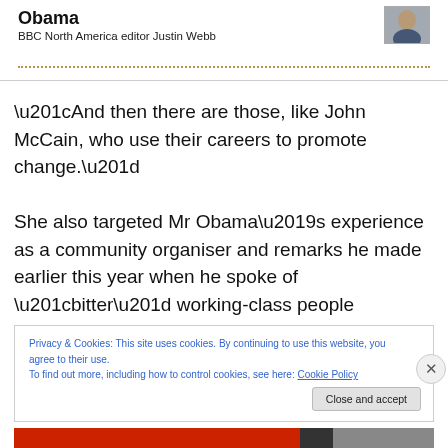Obama
BBC North America editor Justin Webb
“And then there are those, like John McCain, who use their careers to promote change.”
She also targeted Mr Obama’s experience as a community organiser and remarks he made earlier this year when he spoke of “bitter” working-class people “clinging to guns or religion”.
Privacy & Cookies: This site uses cookies. By continuing to use this website, you agree to their use.
To find out more, including how to control cookies, see here: Cookie Policy
Close and accept